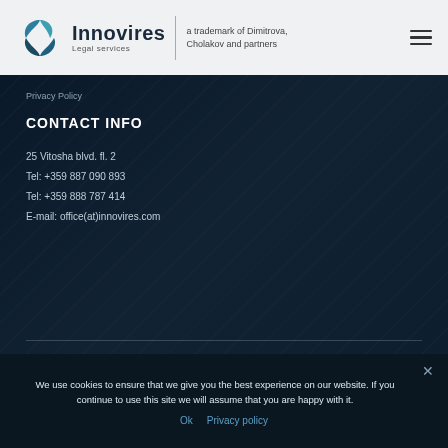Innovires Legal services — a trademark of Dimitrova, Cholakov and partners
Privacy Policy
CONTACT INFO
25 Vitosha blvd. fl. 2
Tel: +359 887 090 893
Tel: +359 888 787 414
E-mail: office(at)innovires.com
We use cookies to ensure that we give you the best experience on our website. If you continue to use this site we will assume that you are happy with it.
Ok   Privacy policy